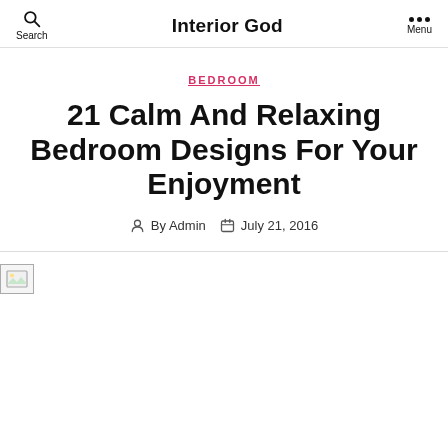Interior God
BEDROOM
21 Calm And Relaxing Bedroom Designs For Your Enjoyment
By Admin  July 21, 2016
[Figure (photo): Broken/missing image placeholder at bottom of page]